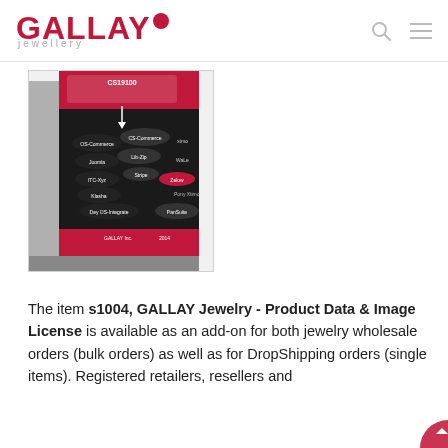GALLAY jewellery
[Figure (illustration): A 3D box/book cover showing a red and black diagram with CS-Cart, OS-Commerce, Joomla, ZenCart, OsCommerce labels and arrows indicating product data integration compatibility]
The item s1004, GALLAY Jewelry - Product Data & Image License is available as an add-on for both jewelry wholesale orders (bulk orders) as well as for DropShipping orders (single items). Registered retailers, resellers and